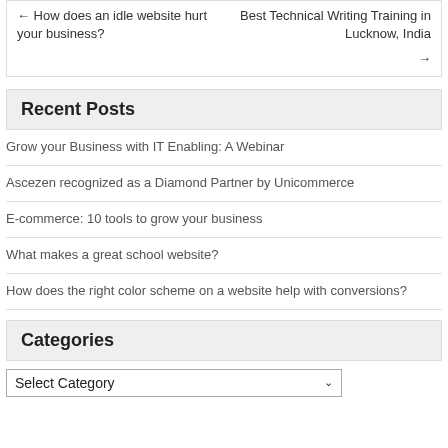← How does an idle website hurt your business?
Best Technical Writing Training in Lucknow, India →
Recent Posts
Grow your Business with IT Enabling: A Webinar
Ascezen recognized as a Diamond Partner by Unicommerce
E-commerce: 10 tools to grow your business
What makes a great school website?
How does the right color scheme on a website help with conversions?
Categories
Select Category